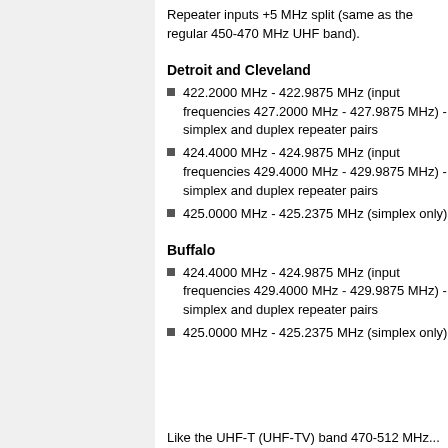Repeater inputs +5 MHz split (same as the regular 450-470 MHz UHF band).
Detroit and Cleveland
422.2000 MHz - 422.9875 MHz (input frequencies 427.2000 MHz - 427.9875 MHz) - simplex and duplex repeater pairs
424.4000 MHz - 424.9875 MHz (input frequencies 429.4000 MHz - 429.9875 MHz) - simplex and duplex repeater pairs
425.0000 MHz - 425.2375 MHz (simplex only)
Buffalo
424.4000 MHz - 424.9875 MHz (input frequencies 429.4000 MHz - 429.9875 MHz) - simplex and duplex repeater pairs
425.0000 MHz - 425.2375 MHz (simplex only)
Like the UHF-T (UHF-TV) band 470-512 MHz...